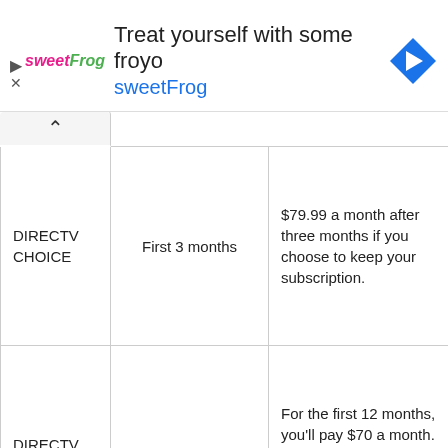[Figure (other): sweetFrog advertisement banner: logo on left, text 'Treat yourself with some froyo' and 'sweetFrog', navigation arrow icon on right]
| Plan | Free trial period | Price after trial |
| --- | --- | --- |
| DIRECTV CHOICE | First 3 months | $79.99 a month after three months if you choose to keep your subscription. |
| DIRECTV XTRA | First 3 months | For the first 12 months, you'll pay $70 a month. After that, you'll pay $124 a month for 13-24 months. |